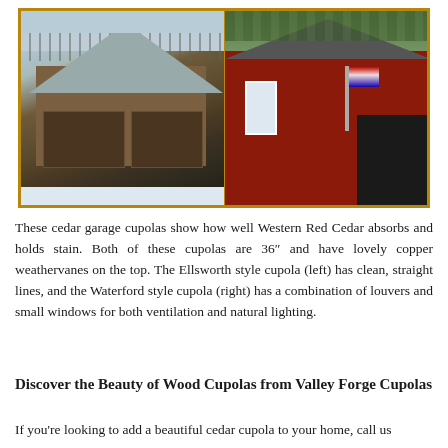[Figure (photo): Two side-by-side photos of cedar garage cupolas. Left photo shows a winter scene with a garage featuring a steep roof covered in light snow, dark wood siding, and a cupola with a weathervane on top. Right photo shows a red barn-style garage with a cupola, an American flag, white-trimmed windows, and an open garage door.]
These cedar garage cupolas show how well Western Red Cedar absorbs and holds stain. Both of these cupolas are 36″ and have lovely copper weathervanes on the top. The Ellsworth style cupola (left) has clean, straight lines, and the Waterford style cupola (right) has a combination of louvers and small windows for both ventilation and natural lighting.
Discover the Beauty of Wood Cupolas from Valley Forge Cupolas
If you're looking to add a beautiful cedar cupola to your home, call us